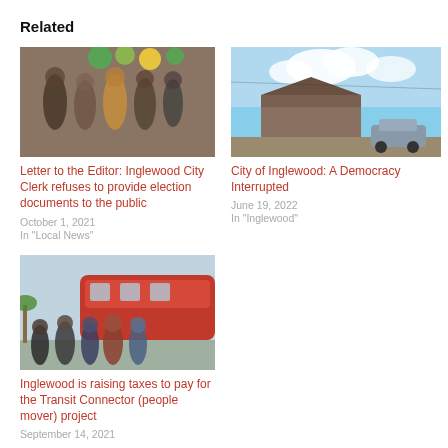Related
[Figure (photo): Group of people posing indoors at a celebration with green and gold balloons]
Letter to the Editor: Inglewood City Clerk refuses to provide election documents to the public
October 1, 2021
In "Local News"
[Figure (photo): Outdoor photo of a building under a cloudy sky with a car parked nearby]
City of Inglewood: A Democracy Interrupted
June 19, 2022
In "Inglewood"
[Figure (photo): Group of officials posing in front of a red transit vehicle]
Inglewood is raising taxes to pay for the Transit Connector (people mover) project
September 14, 2021